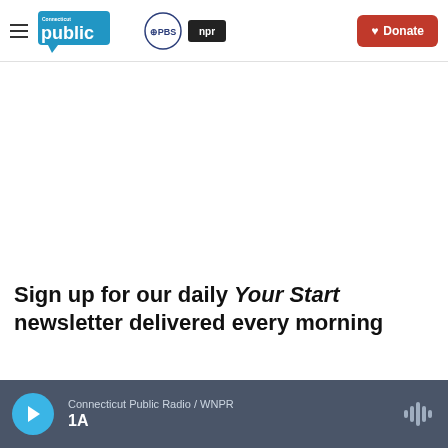Connecticut Public | PBS | NPR — Donate
Sign up for our daily Your Start newsletter delivered every morning
Connecticut Public Radio / WNPR — 1A